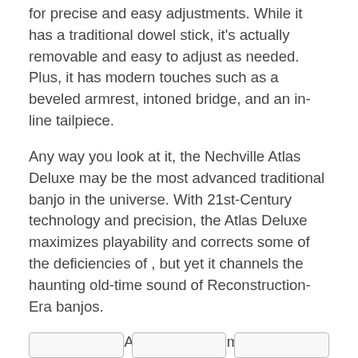for precise and easy adjustments. While it has a traditional dowel stick, it's actually removable and easy to adjust as needed. Plus, it has modern touches such as a beveled armrest, intoned bridge, and an in-line tailpiece.
Any way you look at it, the Nechville Atlas Deluxe may be the most advanced traditional banjo in the universe. With 21st-Century technology and precision, the Atlas Deluxe maximizes playability and corrects some of the deficiencies of , but yet it channels the haunting old-time sound of Reconstruction-Era banjos.
This Nechville Atlas Deluxe comes with 5th string spikes at the 7th and 9th frets. It includes all of the necessary tools for setup adjustment and a hardshell case.